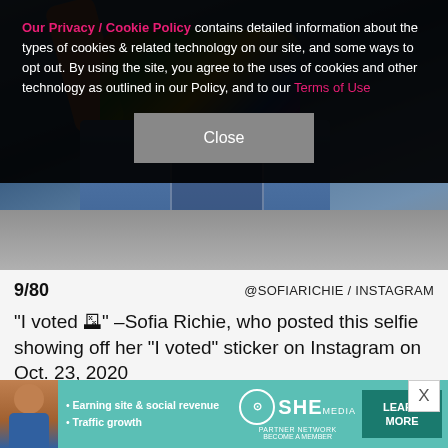Our Privacy / Cookie Policy contains detailed information about the types of cookies & related technology on our site, and some ways to opt out. By using the site, you agree to the uses of cookies and other technology as outlined in our Policy, and to our Terms of Use
[Figure (photo): Photo of a person from behind wearing a colorful crop top and blue jeans, raising one arm, standing on a concrete surface]
9/80
@SOFIARICHIE / INSTAGRAM
"I voted 🗳" –Sofia Richie, who posted this selfie showing off her "I voted" sticker on Instagram on Oct. 23, 2020
[Figure (infographic): SHE Partner Network advertisement banner with text: Earning site & social revenue, Traffic growth, LEARN MORE button]